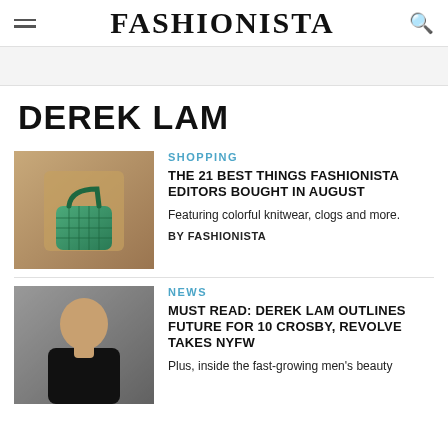FASHIONISTA
DEREK LAM
[Figure (photo): Close-up of a person holding a small green woven leather bag, wearing a beige coat]
SHOPPING
THE 21 BEST THINGS FASHIONISTA EDITORS BOUGHT IN AUGUST
Featuring colorful knitwear, clogs and more.
BY FASHIONISTA
[Figure (photo): Man in black shirt standing outdoors]
NEWS
MUST READ: DEREK LAM OUTLINES FUTURE FOR 10 CROSBY, REVOLVE TAKES NYFW
Plus, inside the fast-growing men's beauty